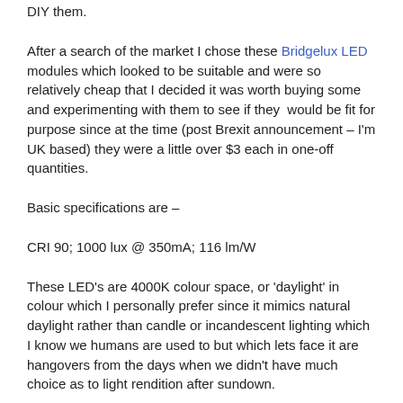DIY them.
After a search of the market I chose these Bridgelux LED modules which looked to be suitable and were so relatively cheap that I decided it was worth buying some and experimenting with them to see if they would be fit for purpose since at the time (post Brexit announcement – I'm UK based) they were a little over $3 each in one-off quantities.
Basic specifications are –
CRI 90; 1000 lux @ 350mA; 116 lm/W
These LED's are 4000K colour space, or 'daylight' in colour which I personally prefer since it mimics natural daylight rather than candle or incandescent lighting which I know we humans are used to but which lets face it are hangovers from the days when we didn't have much choice as to light rendition after sundown.